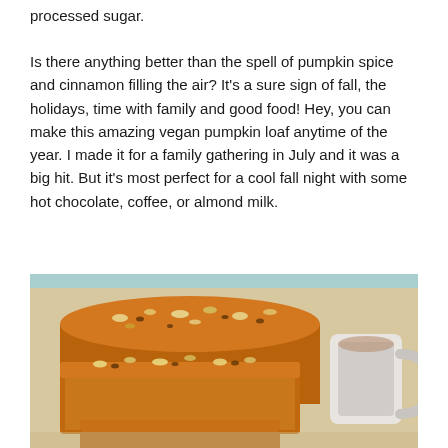processed sugar.
Is there anything better than the spell of pumpkin spice and cinnamon filling the air? It's a sure sign of fall, the holidays, time with family and good food! Hey, you can make this amazing vegan pumpkin loaf anytime of the year. I made it for a family gathering in July and it was a big hit. But it's most perfect for a cool fall night with some hot chocolate, coffee, or almond milk.
[Figure (photo): Close-up photo of sliced vegan pumpkin loaf with nuts on top, alongside a cup of hot beverage, on a wooden surface.]